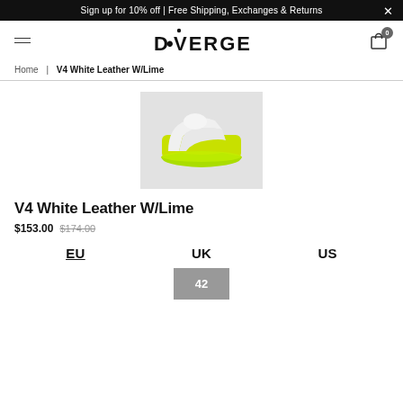Sign up for 10% off | Free Shipping, Exchanges & Returns
[Figure (logo): DIVERGE brand logo with dot above the I]
Home | V4 White Leather W/Lime
[Figure (photo): White high-top sneaker with neon lime green sole on grey background]
V4 White Leather W/Lime
$153.00 $174.00
EU  UK  US
42